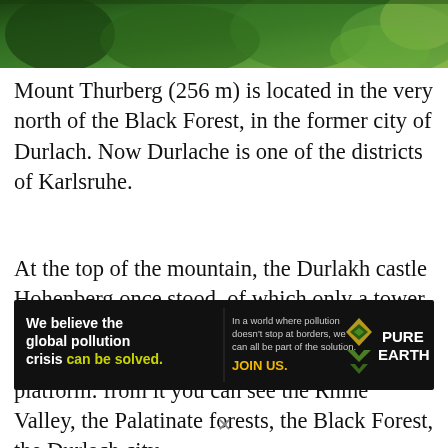[Figure (photo): Aerial photograph of a forested mountainous area, predominantly green with dense tree cover, viewed from above.]
Mount Thurberg (256 m) is located in the very north of the Black Forest, in the former city of Durlach. Now Durlache is one of the districts of Karlsruhe.
At the top of the mountain, the Durlakh castle Hohenberg once stood, of which only a tower with a height of 28 m has been preserved. Now this tower is used as an observation platform: from it you can see the Rhine Valley, the Palatinate forests, the Black Forest, the Durlach city
[Figure (infographic): Pure Earth advertisement banner. Black background. Left side: 'We believe the global pollution crisis can be solved.' (can be solved in yellow-green). Middle: 'In a world where pollution doesn't stop at borders, we can all be part of the solution.' then 'JOIN US.' in yellow. Right side: Pure Earth logo with diamond/chevron icon in gold/green and text PURE EARTH in white.]